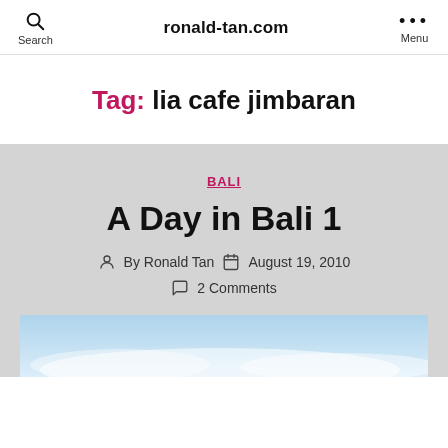ronald-tan.com
Tag: lia cafe jimbaran
BALI
A Day in Bali 1
By Ronald Tan  August 19, 2010
2 Comments
[Figure (photo): Partial view of a blue sky with clouds, cropped at bottom of page]